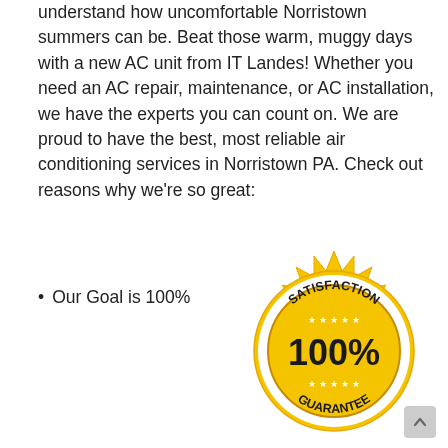understand how uncomfortable Norristown summers can be. Beat those warm, muggy days with a new AC unit from IT Landes! Whether you need an AC repair, maintenance, or AC installation, we have the experts you can count on. We are proud to have the best, most reliable air conditioning services in Norristown PA. Check out reasons why we're so great:
Our Goal is 100%
[Figure (illustration): Gold satisfaction guarantee badge/seal with text 'SATISFACTION 100% GUARANTEE' and stars]